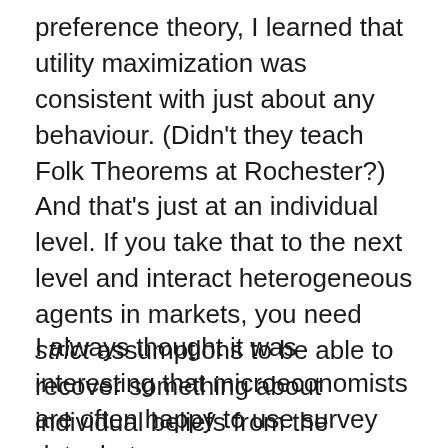preference theory, I learned that utility maximization was consistent with just about any behaviour. (Didn't they teach Folk Theorems at Rochester?) And that's just at an individual level. If you take that to the next level and interact heterogeneous agents in markets, you need strict assumptions to be able to recover something about individual beliefs from the resulting prices and quantities.
I always thought it was interesting that microeconomists are often happy to use survey data, but